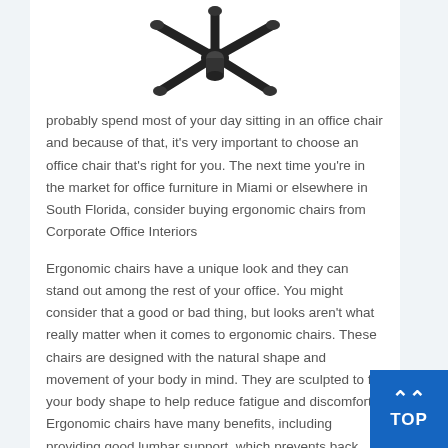[Figure (photo): Bottom view of an office chair showing the five-star base with casters, dark/black color, on a white background.]
probably spend most of your day sitting in an office chair and because of that, it's very important to choose an office chair that's right for you. The next time you're in the market for office furniture in Miami or elsewhere in South Florida, consider buying ergonomic chairs from Corporate Office Interiors
Ergonomic chairs have a unique look and they can stand out among the rest of your office. You might consider that a good or bad thing, but looks aren't what really matter when it comes to ergonomic chairs. These chairs are designed with the natural shape and movement of your body in mind. They are sculpted to fit your body shape to help reduce fatigue and discomfort. Ergonomic chairs have many benefits, including providing good lumbar support, which prevents back pain. And while sitting improperly increases the chances of developing carpal tunnel syndrome, ergonomic chairs are designed to reduce this risk.
Employers who choose to buy ergonomic chairs for their employees will have a much happier, healthier staff. Your